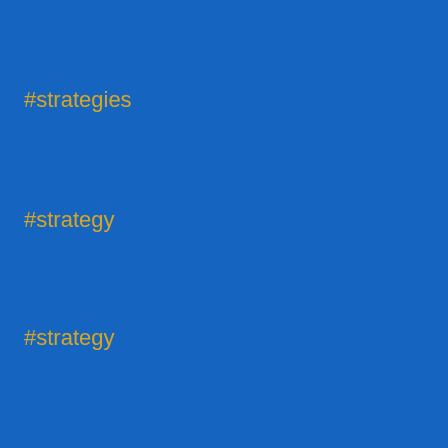#strategies
#strategy
#strategy
#strateticleader
#Success
#SuccessStory
#Switzerland
#Symposium
#Symposium